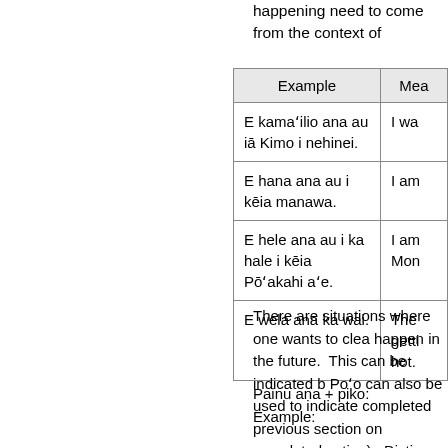happening need to come from the context of
| Example | Mea |
| --- | --- |
| E kamaʻilio ana au iā Kimo i nehinei. | I wa |
| E hana ana au i kēia manawa. | I am |
| E hele ana au i ka hale i kēia Pōʻakahi aʻe. | I am Mon |
| E wela ana ka wai. | The getti hot. |
There are situations where one wants to clea happen in the future.  This can be indicated b Poʻo can also be used to indicate completed previous section on completed action).  Distin used in the Poʻo needs to rely on other conte
Painu ana + piko:
Example: